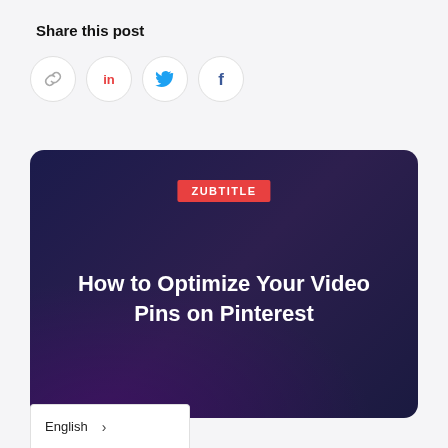Share this post
[Figure (illustration): Four social sharing icon circles: link/chain icon, LinkedIn icon, Twitter bird icon, Facebook f icon]
[Figure (illustration): Dark navy card with ZUBTITLE badge in red and title text: How to Optimize Your Video Pins on Pinterest]
English >